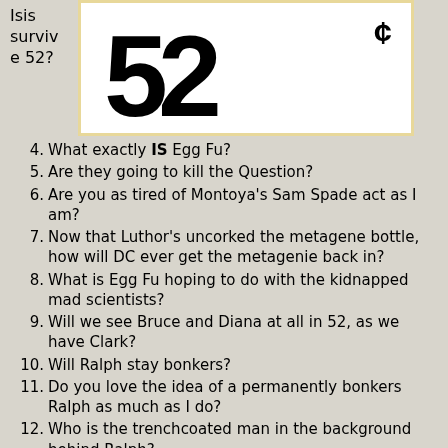[Figure (illustration): Comic book style large bold number '52' with a currency-like symbol, rendered in thick black on white background within a tan-bordered box]
Isis survive 52?
4. What exactly IS Egg Fu?
5. Are they going to kill the Question?
6. Are you as tired of Montoya's Sam Spade act as I am?
7. Now that Luthor's uncorked the metagene bottle, how will DC ever get the metagenie back in?
8. What is Egg Fu hoping to do with the kidnapped mad scientists?
9. Will we see Bruce and Diana at all in 52, as we have Clark?
10. Will Ralph stay bonkers?
11. Do you love the idea of a permanently bonkers Ralph as much as I do?
12. Who is the trenchcoated man in the background behind Ralph?
13. What is the Dominators connection to the 52?
14. So does Adam Strange have one eye or two, and will be getting any of them back?